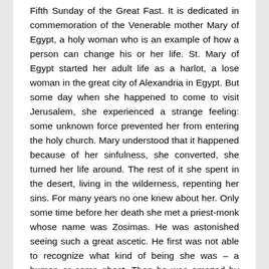Fifth Sunday of the Great Fast. It is dedicated in commemoration of the Venerable mother Mary of Egypt, a holy woman who is an example of how a person can change his or her life. St. Mary of Egypt started her adult life as a harlot, a lose woman in the great city of Alexandria in Egypt. But some day when she happened to come to visit Jerusalem, she experienced a strange feeling: some unknown force prevented her from entering the holy church. Mary understood that it happened because of her sinfulness, she converted, she turned her life around. The rest of it she spent in the desert, living in the wilderness, repenting her sins. For many years no one knew about her. Only some time before her death she met a priest-monk whose name was Zosimas. He was astonished seeing such a great ascetic. He first was not able to recognize what kind of being she was – a human or some ghost. Then he was amazed by her life and ascetic endeavors. St. Mary asked him to meet her again in one year and to bring her Holy Communion. They met again and Zosimas gave her Communion. Soon after that Mary fell asleep in the Lord and a year after Zosimas discovered her uncorrupted body. Many times we can